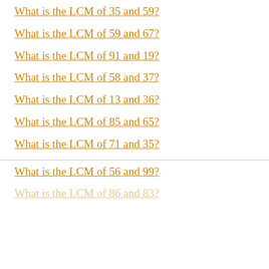What is the LCM of 35 and 59?
What is the LCM of 59 and 67?
What is the LCM of 91 and 19?
What is the LCM of 58 and 37?
What is the LCM of 13 and 36?
What is the LCM of 85 and 65?
What is the LCM of 71 and 35?
What is the LCM of 56 and 99?
What is the LCM of 86 and 83?